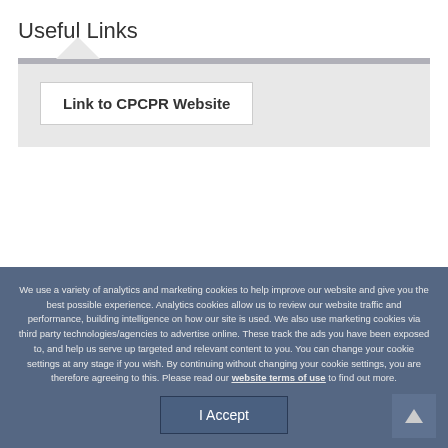Useful Links
Link to CPCPR Website
We use a variety of analytics and marketing cookies to help improve our website and give you the best possible experience. Analytics cookies allow us to review our website traffic and performance, building intelligence on how our site is used. We also use marketing cookies via third party technologies/agencies to advertise online. These track the ads you have been exposed to, and help us serve up targeted and relevant content to you. You can change your cookie settings at any stage if you wish. By continuing without changing your cookie settings, you are therefore agreeing to this. Please read our website terms of use to find out more.
I Accept